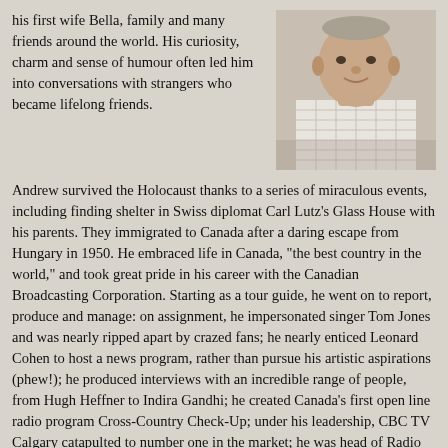his first wife Bella, family and many friends around the world. His curiosity, charm and sense of humour often led him into conversations with strangers who became lifelong friends.
[Figure (photo): Portrait photo of an elderly man wearing a light-colored plaid shirt, smiling slightly, photographed from the shoulders up.]
Andrew survived the Holocaust thanks to a series of miraculous events, including finding shelter in Swiss diplomat Carl Lutz's Glass House with his parents. They immigrated to Canada after a daring escape from Hungary in 1950. He embraced life in Canada, "the best country in the world," and took great pride in his career with the Canadian Broadcasting Corporation. Starting as a tour guide, he went on to report, produce and manage: on assignment, he impersonated singer Tom Jones and was nearly ripped apart by crazed fans; he nearly enticed Leonard Cohen to host a news program, rather than pursue his artistic aspirations (phew!); he produced interviews with an incredible range of people, from Hugh Heffner to Indira Gandhi; he created Canada's first open line radio program Cross-Country Check-Up; under his leadership, CBC TV Calgary catapulted to number one in the market; he was head of Radio Canada International. His family knew to be quiet during newscasts and the National Research Time Signal.